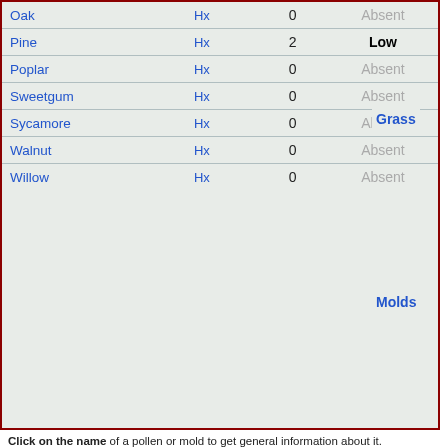| Name | History | Count | Level |
| --- | --- | --- | --- |
| Oak | Hx | 0 | Absent |
| Pine | Hx | 2 | Low |
| Poplar | Hx | 0 | Absent |
| Sweetgum | Hx | 0 | Absent |
| Sycamore | Hx | 0 | Absent |
| Walnut | Hx | 0 | Absent |
| Willow | Hx | 0 | Absent |
Grass
Molds
Click on the name of a pollen or mold to get general information about it. Click on the History (Hx) link to get the 60 days history prior to Friday, July 8, 2016.
Observations:
No Comments.